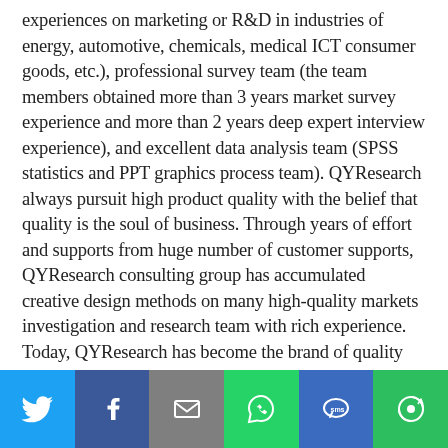experiences on marketing or R&D in industries of energy, automotive, chemicals, medical ICT consumer goods, etc.), professional survey team (the team members obtained more than 3 years market survey experience and more than 2 years deep expert interview experience), and excellent data analysis team (SPSS statistics and PPT graphics process team). QYResearch always pursuit high product quality with the belief that quality is the soul of business. Through years of effort and supports from huge number of customer supports, QYResearch consulting group has accumulated creative design methods on many high-quality markets investigation and research team with rich experience. Today, QYResearch has become the brand of quality assurance in consulting industry. QYResearch has more than 4000 global well-known customers, covering more than 30 industries including energy, automobiles, pharmaceuticals, chemicals, agriculture, etc. Company services cover one-stop solution as Data-Analysis-
[Figure (infographic): Social sharing bar with six buttons: Twitter (blue), Facebook (dark blue), Email (gray), WhatsApp (green), SMS (blue), ShareThis (green)]